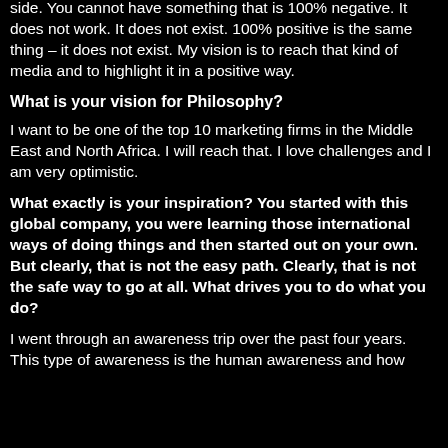side. You cannot have something that is 100% negative. It does not work. It does not exist. 100% positive is the same thing – it does not exist. My vision is to reach that kind of media and to highlight it in a positive way.
What is your vision for Philosophy?
I want to be one of the top 10 marketing firms in the Middle East and North Africa. I will reach that. I love challenges and I am very optimistic.
What exactly is your inspiration? You started with this global company, you were learning those international ways of doing things and then started out on your own. But clearly, that is not the easy path. Clearly, that is not the safe way to go at all. What drives you to do what you do?
I went through an awareness trip over the past four years. This type of awareness is the human awareness and how